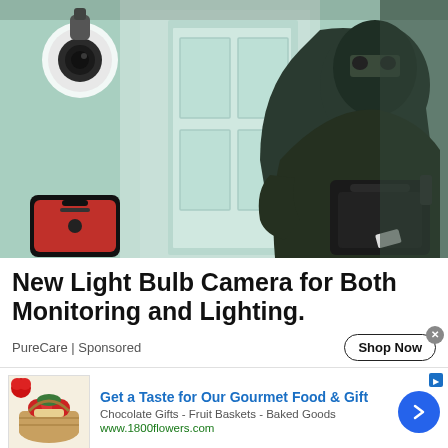[Figure (photo): Advertisement image showing a person dressed in all-black burglar outfit crouching near a door, with a security camera visible in the upper left corner and a smartphone in the lower left corner. The background is a mint/light green color.]
New Light Bulb Camera for Both Monitoring and Lighting.
PureCare | Sponsored
Shop Now
[Figure (photo): 1800flowers gift basket with chocolates and fruit, shown as a product thumbnail image for an advertisement.]
Get a Taste for Our Gourmet Food & Gift
Chocolate Gifts - Fruit Baskets - Baked Goods
www.1800flowers.com